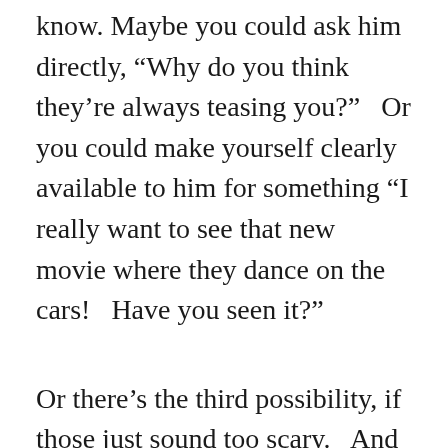know. Maybe you could ask him directly, “Why do you think they’re always teasing you?”  Or you could make yourself clearly available to him for something “I really want to see that new movie where they dance on the cars!  Have you seen it?”
Or there’s the third possibility, if those just sound too scary.  And that’s just to relax as much as you can, and give it time.  Keep dancing with him, keep friendly, and just see what he does